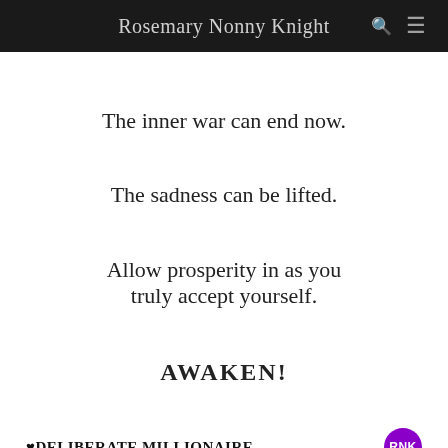Rosemary Nonny Knight
The inner war can end now.
The sadness can be lifted.
Allow prosperity in as you truly accept yourself.
AWAKEN!
♥DELIBERATE MILLIONAIRE
[Figure (infographic): Advertisement banner: 'Manifest Peace, Purpose & A 6 Figure Income With Ease, Simplicity & Speed'. Shows book promo: PRAY. AFFIRM. RECEIVE. with lion image, '3 Books For $3', and SPIRIT SPEAKS book cover.]